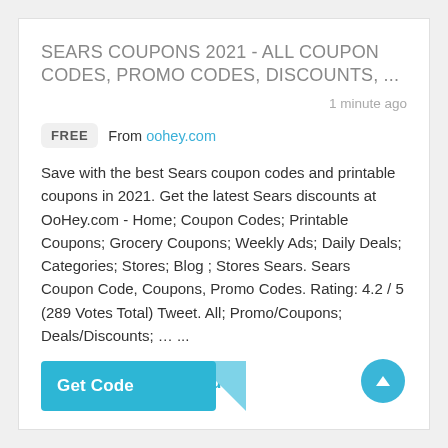SEARS COUPONS 2021 - ALL COUPON CODES, PROMO CODES, DISCOUNTS, ...
1 minute ago
FREE  From oohey.com
Save with the best Sears coupon codes and printable coupons in 2021. Get the latest Sears discounts at OoHey.com - Home; Coupon Codes; Printable Coupons; Grocery Coupons; Weekly Ads; Daily Deals; Categories; Stores; Blog ; Stores Sears. Sears Coupon Code, Coupons, Promo Codes. Rating: 4.2 / 5 (289 Votes Total) Tweet. All; Promo/Coupons; Deals/Discounts; … ...